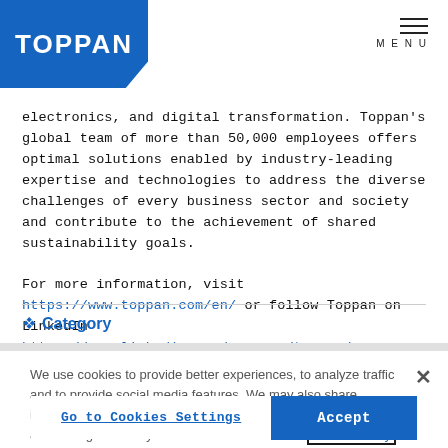TOPPAN | MENU
electronics, and digital transformation. Toppan's global team of more than 50,000 employees offers optimal solutions enabled by industry-leading expertise and technologies to address the diverse challenges of every business sector and society and contribute to the achievement of shared sustainability goals.

For more information, visit https://www.toppan.com/en/ or follow Toppan on LinkedIn https://www.linkedin.com/company/toppan/.
Category
We use cookies to provide better experiences, to analyze traffic and to provide social media features. We may also share information about your use of our site with third parties for advertising and analytics. For more information: Cookie Policy
Go to Cookies Settings
Accept